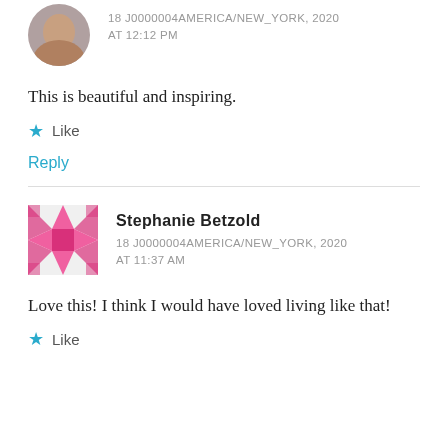18 J0000004AMERICA/NEW_YORK, 2020 AT 12:12 PM
This is beautiful and inspiring.
★ Like
Reply
Stephanie Betzold
18 J0000004AMERICA/NEW_YORK, 2020 AT 11:37 AM
Love this! I think I would have loved living like that!
★ Like